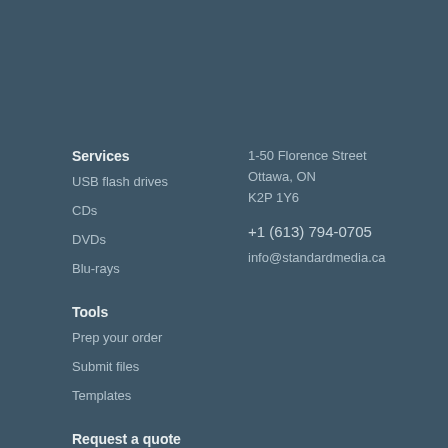Services
USB flash drives
CDs
DVDs
Blu-rays
Tools
Prep your order
Submit files
Templates
Request a quote
Combos
About us
1-50 Florence Street
Ottawa, ON
K2P 1Y6
+1 (613) 794-0705
info@standardmedia.ca